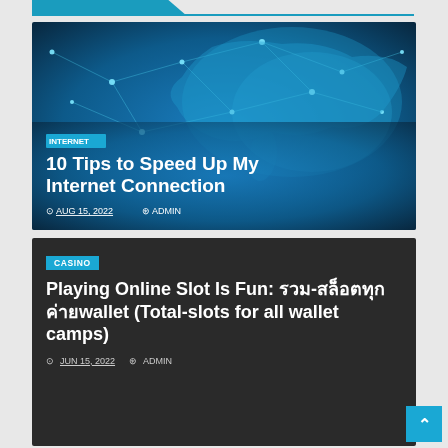[Figure (photo): Blue digital world map network connectivity background with glowing nodes and connecting lines]
INTERNET
10 Tips to Speed Up My Internet Connection
AUG 15, 2022   ADMIN
[Figure (photo): Dark background card for casino article]
CASINO
Playing Online Slot Is Fun: รวม-สล็อตทุกค่ายwallet (Total-slots for all wallet camps)
JUN 15, 2022   ADMIN